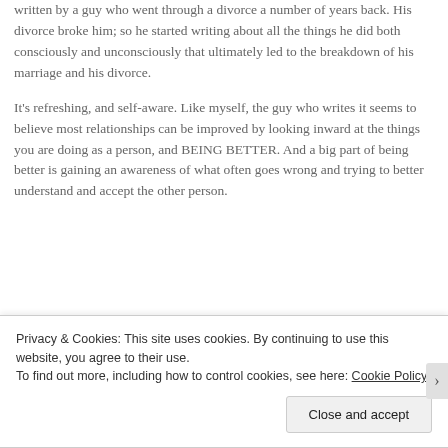written by a guy who went through a divorce a number of years back. His divorce broke him; so he started writing about all the things he did both consciously and unconsciously that ultimately led to the breakdown of his marriage and his divorce.
It's refreshing, and self-aware. Like myself, the guy who writes it seems to believe most relationships can be improved by looking inward at the things you are doing as a person, and BEING BETTER. And a big part of being better is gaining an awareness of what often goes wrong and trying to better understand and accept the other person.
Privacy & Cookies: This site uses cookies. By continuing to use this website, you agree to their use.
To find out more, including how to control cookies, see here: Cookie Policy
Close and accept